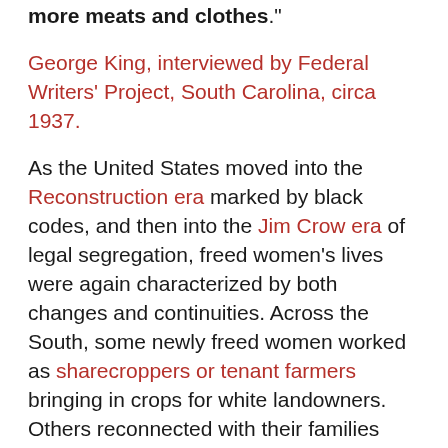more meats and clothes."
George King, interviewed by Federal Writers' Project, South Carolina, circa 1937.
As the United States moved into the Reconstruction era marked by black codes, and then into the Jim Crow era of legal segregation, freed women's lives were again characterized by both changes and continuities. Across the South, some newly freed women worked as sharecroppers or tenant farmers bringing in crops for white landowners. Others reconnected with their families and moved to cities or worked on small plots of family-owned land. On the more remote Lowcountry islands, women